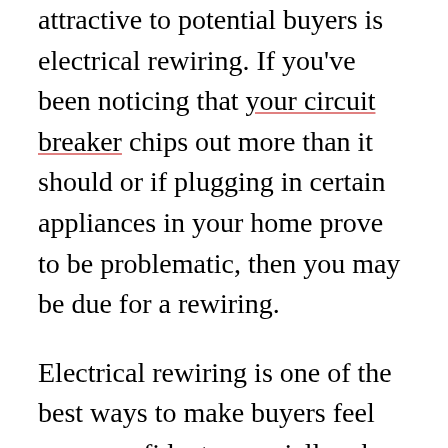attractive to potential buyers is electrical rewiring. If you've been noticing that your circuit breaker chips out more than it should or if plugging in certain appliances in your home prove to be problematic, then you may be due for a rewiring.
Electrical rewiring is one of the best ways to make buyers feel more confident, especially when they are buying an older home. Normally, when purchasing an older home, people expect that they will have to take care of electrical matters.
It will be a pleasant surprise for them to find out that it's already been done. This might be just